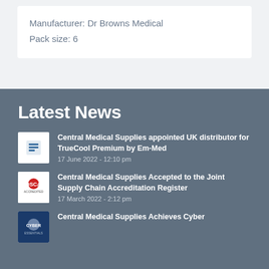Manufacturer: Dr Browns Medical
Pack size: 6
Latest News
Central Medical Supplies appointed UK distributor for TrueCool Premium by Em-Med
17 June 2022 - 12:10 pm
Central Medical Supplies Accepted to the Joint Supply Chain Accreditation Register
17 March 2022 - 2:12 pm
Central Medical Supplies Achieves Cyber